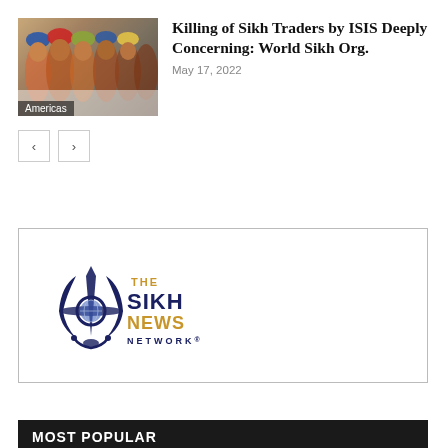[Figure (photo): Group of Sikh men, some wearing turbans, gathered together, with 'Americas' tag overlay]
Killing of Sikh Traders by ISIS Deeply Concerning: World Sikh Org.
May 17, 2022
[Figure (logo): The Sikh News Network logo — dark blue Khanda symbol with 'THE SIKH NEWS NETWORK' text in blue and gold]
MOST POPULAR